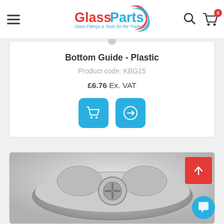[Figure (screenshot): GlassParts website header with logo, hamburger menu, search icon, and cart icon with badge showing 0]
Bottom Guide - Plastic
Product code: KBG15
£6.76 Ex. VAT
[Figure (photo): Close-up photo of a grey plastic/metal bottom guide fitting with a screw hole visible]
[Figure (infographic): Red back-to-top button with upward arrow, and blue chat bubble icon in bottom right]